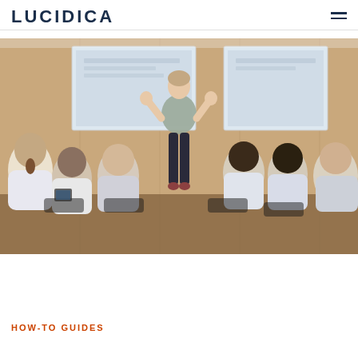LUCIBICA
[Figure (photo): A woman presenter standing at the front of a conference room, gesturing with both hands raised, facing an audience of people seated in chairs with their backs to the camera. A projection screen is visible in the background on a wooden-paneled wall.]
HOW-TO GUIDES